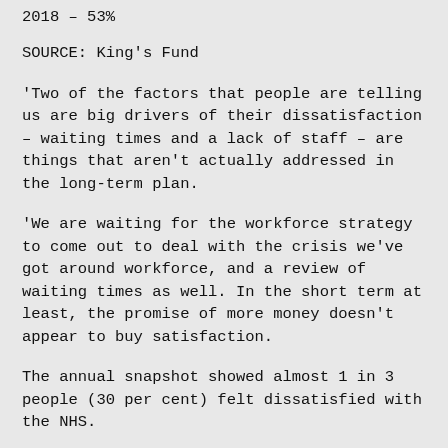2018 – 53%
SOURCE: King's Fund
'Two of the factors that people are telling us are big drivers of their dissatisfaction – waiting times and a lack of staff – are things that aren't actually addressed in the long-term plan.
'We are waiting for the workforce strategy to come out to deal with the crisis we've got around workforce, and a review of waiting times as well. In the short term at least, the promise of more money doesn't appear to buy satisfaction.
The annual snapshot showed almost 1 in 3 people (30 per cent) felt dissatisfied with the NHS.
The main reasons people gave for being dissatisfied with the NHS overall were long waits for GP and hospital appointments (53 per cent), not enough staff